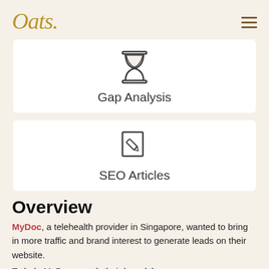Oats.
[Figure (infographic): Hourglass icon above the label 'Gap Analysis']
[Figure (infographic): Edit/pencil-on-document icon above the label 'SEO Articles']
Overview
MyDoc, a telehealth provider in Singapore, wanted to bring in more traffic and brand interest to generate leads on their website.
To help MyDoc growth their brand they...